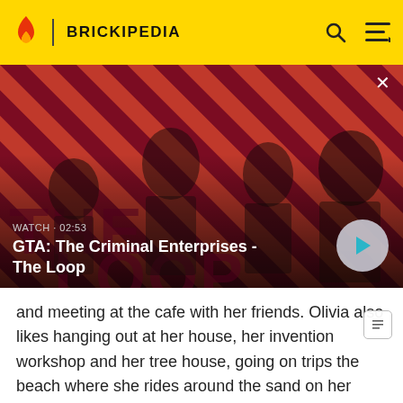BRICKIPEDIA
[Figure (screenshot): Video thumbnail for GTA: The Criminal Enterprises - The Loop. Shows four characters on a diagonal red/dark striped background. Text overlay reads WATCH · 02:53 and GTA: The Criminal Enterprises - The Loop. A circular play button is visible on the right.]
and meeting at the cafe with her friends. Olivia also likes hanging out at her house, her invention workshop and her tree house, going on trips the beach where she rides around the sand on her beach buggy and cruising around the water in her speedboat.